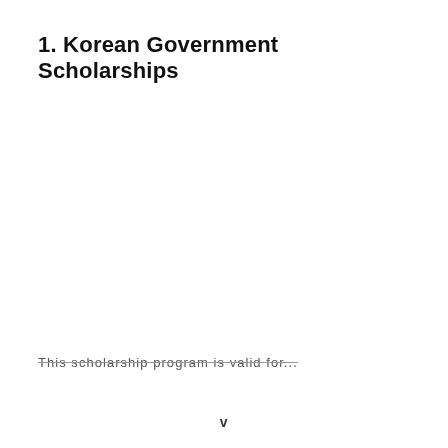1. Korean Government Scholarships
This scholarship program is valid for...
v